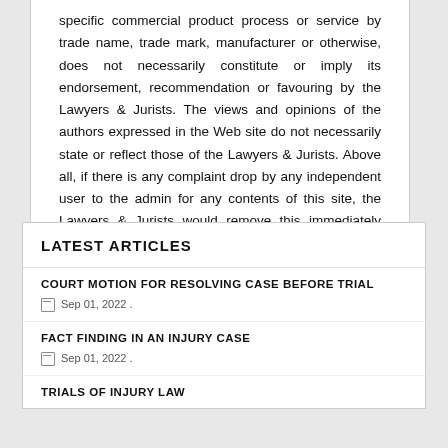specific commercial product process or service by trade name, trade mark, manufacturer or otherwise, does not necessarily constitute or imply its endorsement, recommendation or favouring by the Lawyers & Jurists. The views and opinions of the authors expressed in the Web site do not necessarily state or reflect those of the Lawyers & Jurists. Above all, if there is any complaint drop by any independent user to the admin for any contents of this site, the Lawyers & Jurists would remove this immediately from its site.
LATEST ARTICLES
COURT MOTION FOR RESOLVING CASE BEFORE TRIAL
Sep 01, 2022 .
FACT FINDING IN AN INJURY CASE
Sep 01, 2022 .
TRIALS OF INJURY LAW